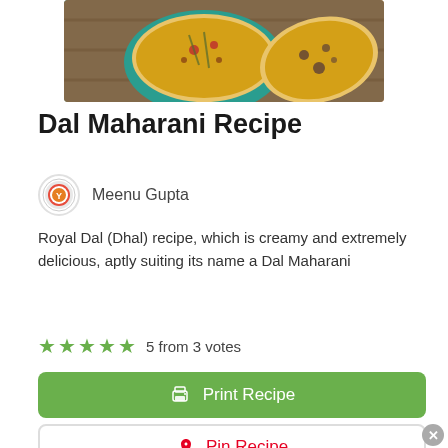[Figure (photo): Food photo showing a bowl of Dal Maharani (yellow/orange lentil dish in a teal bowl) with bread/naan on the side, on a wooden surface]
Dal Maharani Recipe
Meenu Gupta
Royal Dal (Dhal) recipe, which is creamy and extremely delicious, aptly suiting its name a Dal Maharani
5 from 3 votes
Print Recipe
Pin Recipe